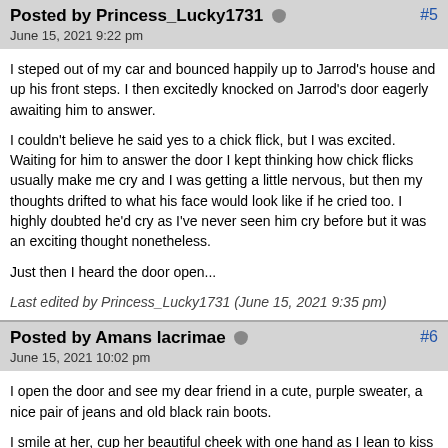Posted by Princess_Lucky1731
June 15, 2021 9:22 pm
I steped out of my car and bounced happily up to Jarrod's house and up his front steps. I then excitedly knocked on Jarrod's door eagerly awaiting him to answer.
I couldn't believe he said yes to a chick flick, but I was excited. Waiting for him to answer the door I kept thinking how chick flicks usually make me cry and I was getting a little nervous, but then my thoughts drifted to what his face would look like if he cried too. I highly doubted he'd cry as I've never seen him cry before but it was an exciting thought nonetheless.
Just then I heard the door open...
Last edited by Princess_Lucky1731 (June 15, 2021 9:35 pm)
Posted by Amans lacrimae
June 15, 2021 10:02 pm
I open the door and see my dear friend in a cute, purple sweater, a nice pair of jeans and old black rain boots.
I smile at her, cup her beautiful cheek with one hand as I lean to kiss her other cheek. We enter her room and she started singing to the mus in the